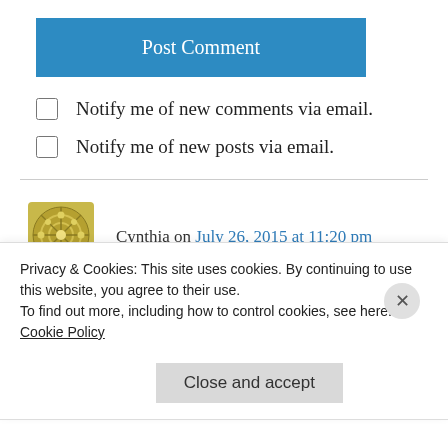Post Comment
Notify me of new comments via email.
Notify me of new posts via email.
Cynthia on July 26, 2015 at 11:20 pm
Yes, getting excited … can't wait!!!!
Reply
Privacy & Cookies: This site uses cookies. By continuing to use this website, you agree to their use.
To find out more, including how to control cookies, see here: Cookie Policy
Close and accept